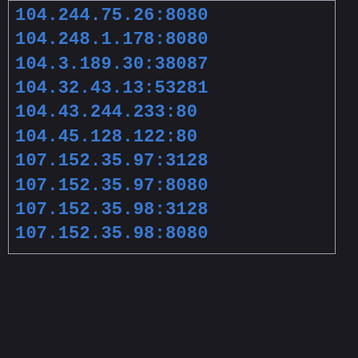104.244.75.26:8080
104.248.1.178:8080
104.3.189.30:38087
104.32.43.13:53281
104.43.244.233:80
104.45.128.122:80
107.152.35.97:3128
107.152.35.97:8080
107.152.35.98:3128
107.152.35.98:8080